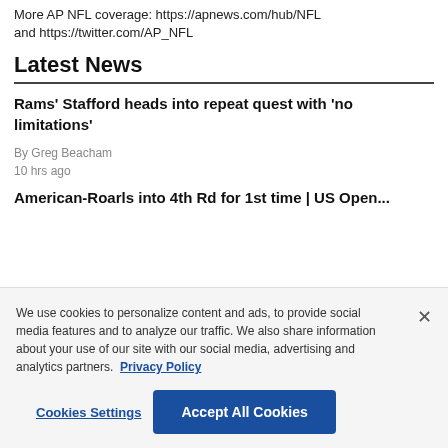More AP NFL coverage: https://apnews.com/hub/NFL and https://twitter.com/AP_NFL
Latest News
Rams' Stafford heads into repeat quest with 'no limitations'
By Greg Beacham
10 hrs ago
American-Roarls into 4th Rd for 1st time | US Open...
We use cookies to personalize content and ads, to provide social media features and to analyze our traffic. We also share information about your use of our site with our social media, advertising and analytics partners. Privacy Policy
Cookies Settings
Accept All Cookies